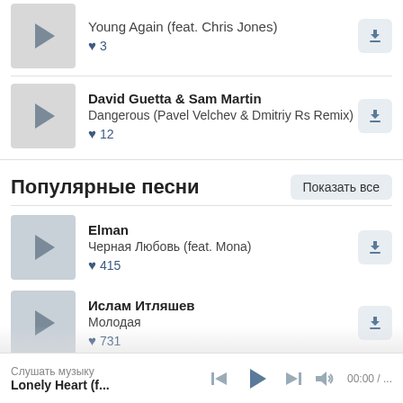Young Again (feat. Chris Jones) ♥ 3
David Guetta & Sam Martin – Dangerous (Pavel Velchev & Dmitriy Rs Remix) ♥ 12
Популярные песни
Elman – Черная Любовь (feat. Mona) ♥ 415
Ислам Итляшев – Молодая ♥ 731
Macan – Останься Образом
Слушать музыку / Lonely Heart (f... / 00:00 / ...